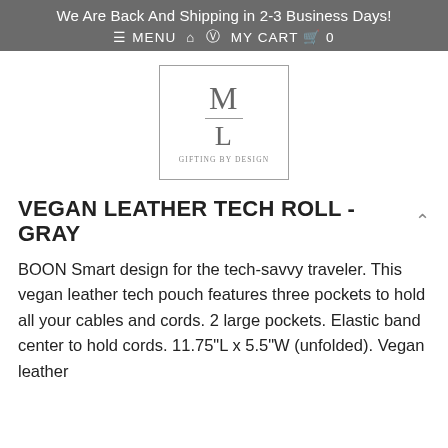We Are Back And Shipping in 2-3 Business Days!
≡ MENU  🏠  👤  MY CART  🛒  0
[Figure (logo): ML Gifting By Design logo — letter M above a horizontal line above letter L, with 'GIFTING BY DESIGN' text below, all inside a rectangular border]
VEGAN LEATHER TECH ROLL - GRAY
BOON Smart design for the tech-savvy traveler. This vegan leather tech pouch features three pockets to hold all your cables and cords. 2 large pockets. Elastic band center to hold cords. 11.75"L x 5.5"W (unfolded). Vegan leather